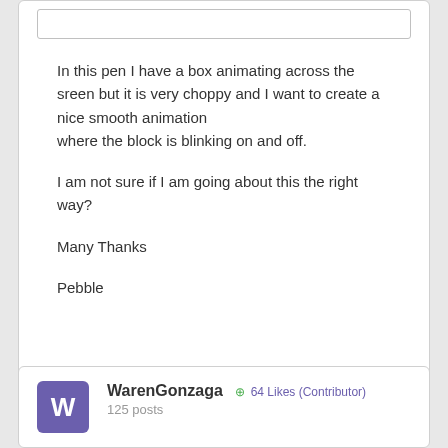In this pen I have a box animating across the sreen but it is very choppy and I want to create a nice smooth animation
where the block is blinking on and off.

I am not sure if I am going about this the right way?

Many Thanks

Pebble
WarenGonzaga ⊕ 64 Likes (Contributor)
125 posts